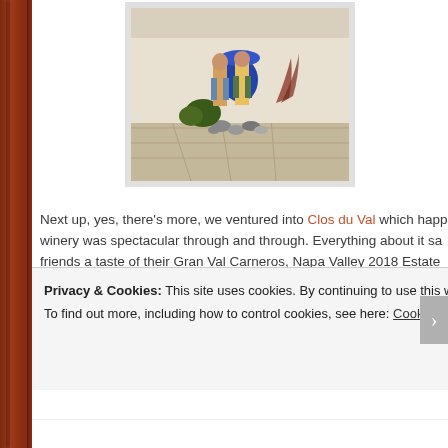[Figure (photo): Photo of two people standing near a decorative garden feature with a large blue vase/pot and ornamental rocks and plants, at what appears to be a winery entrance or patio.]
Next up, yes, there's more, we ventured into Clos du Val which happ... winery was spectacular through and through. Everything about it sa... friends a taste of their Gran Val Carneros, Napa Valley 2018 Estate which reminded me of when my 8th grade son Curtis had to have a someone bought a bottle of wine and we said goodbye to the swarm covered buildings. The insides were just as pretty all decked out in v and benches, phenomenal art ,large stands of trailing succulents, ro... with tapestry. I didn't even taste the wine, but I want to be there righ...
Privacy & Cookies: This site uses cookies. By continuing to use this website, you agree to their use.
To find out more, including how to control cookies, see here: Cookie Policy
Close and accept